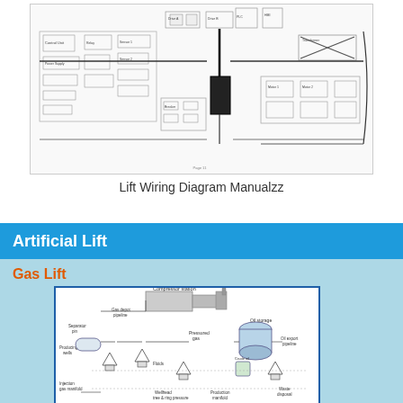[Figure (schematic): Complex lift wiring/piping and instrumentation diagram with many interconnected components, boxes, lines, and labels. Shows a multi-section technical drawing with control systems, valves, instrumentation. 'Page 11' visible at bottom center.]
Lift Wiring Diagram Manualzz
Artificial Lift
Gas Lift
[Figure (engineering-diagram): Gas lift system diagram showing: Compressor station at top, Gas depot/pipeline, Oil storage tank, Pressured gas flow, Oil export pipeline, Producing wells, Fluids flow, Wellhead/tree and ring pressure, Production manifold, Injection gas manifold, and Waste disposal. Various equipment symbols including pump jacks, tanks, compressors, and pipelines with labeled flow paths.]